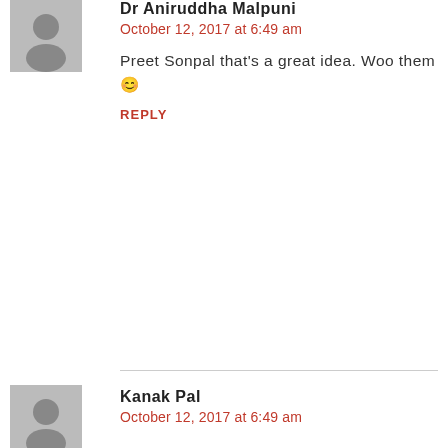Dr. Aniruddha Malpani
October 12, 2017 at 6:49 am
Preet Sonpal that's a great idea. Woo them 😊
REPLY
Kanak Pal
October 12, 2017 at 6:49 am
Quality candidates are very rare, most are either first asking about their salary pkg or coming for passing time
REPLY
Indranil Samaddar
October 12, 2017 at 6:49 am